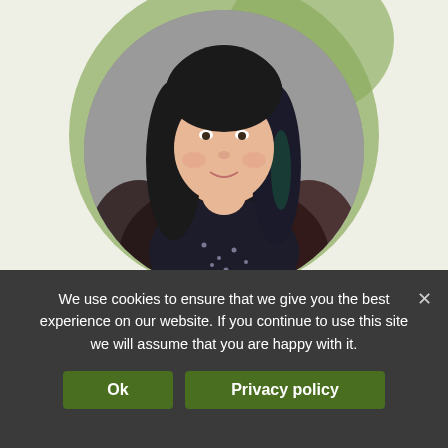[Figure (photo): Professional headshot of a woman with long dark hair wearing a black lace top and patterned top, inside a circular frame with a green organic blob shape behind it, on a light cream background.]
We use cookies to ensure that we give you the best experience on our website. If you continue to use this site we will assume that you are happy with it.